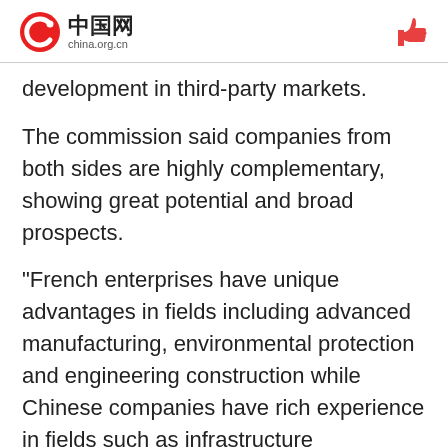中国网 china.org.cn
development in third-party markets.
The commission said companies from both sides are highly complementary, showing great potential and broad prospects.
"French enterprises have unique advantages in fields including advanced manufacturing, environmental protection and engineering construction while Chinese companies have rich experience in fields such as infrastructure construction, energy, equipment manufacturing and the internet," the NDRC said in the statement.